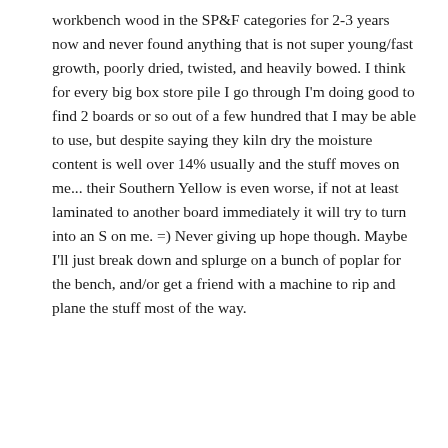workbench wood in the SP&F categories for 2-3 years now and never found anything that is not super young/fast growth, poorly dried, twisted, and heavily bowed. I think for every big box store pile I go through I'm doing good to find 2 boards or so out of a few hundred that I may be able to use, but despite saying they kiln dry the moisture content is well over 14% usually and the stuff moves on me... their Southern Yellow is even worse, if not at least laminated to another board immediately it will try to turn into an S on me. =) Never giving up hope though. Maybe I'll just break down and splurge on a bunch of poplar for the bench, and/or get a friend with a machine to rip and plane the stuff most of the way.